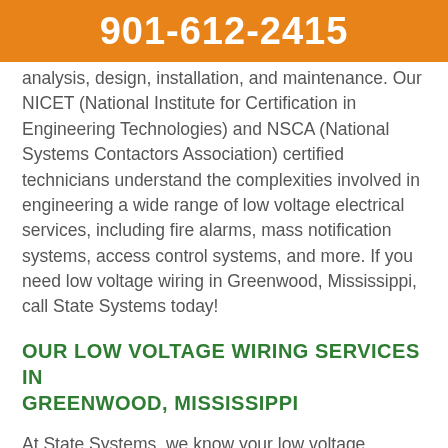901-612-2415
analysis, design, installation, and maintenance. Our NICET (National Institute for Certification in Engineering Technologies) and NSCA (National Systems Contactors Association) certified technicians understand the complexities involved in engineering a wide range of low voltage electrical services, including fire alarms, mass notification systems, access control systems, and more. If you need low voltage wiring in Greenwood, Mississippi, call State Systems today!
OUR LOW VOLTAGE WIRING SERVICES IN GREENWOOD, MISSISSIPPI
At State Systems, we know your low voltage systems are critical to your business operations—even if you don't see them every day. Our low voltage services in Greenwood, Mississippi include...